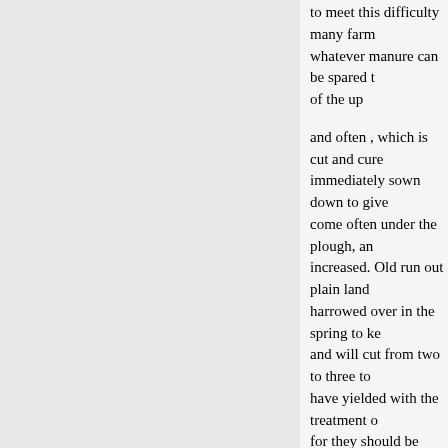to meet this difficulty many farm whatever manure can be spared t of the up
and often , which is cut and cure immediately sown down to give come often under the plough, an increased. Old run out plain land harrowed over in the spring to ke and will cut from two to three to have yielded with the treatment o for they should be turned up dee disturbing the old sward or turf a harrow is better than the commo used, and this, not being rotted o great trouble, and make it very h
Millet can be cut green and us green it will make more milk tha difference, however, in this respe grows on light, warm soil, mode drills to give it the sun and air, p
It is plain that the cost of labo system of rotation, where hoed c